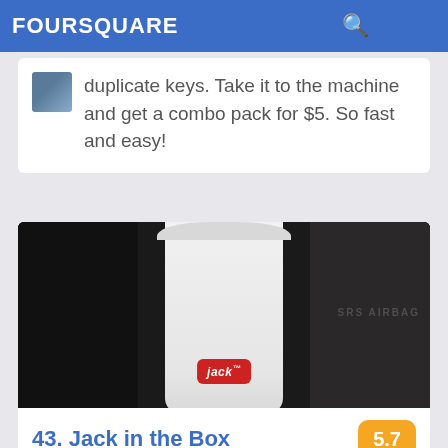FOURSQUARE
duplicate keys. Take it to the machine and get a combo pack for $5. So fast and easy!
[Figure (photo): Photo of a Jack in the Box drink cup on a dark surface, showing the Jack in the Box logo on the cup. Text 'SRS AIRBAG' visible on the right side.]
43. Jack in the Box
103 N Main St (golden triangle), Keller, TX
패스트푸드 레스토랑 · 7명의 팁 및 리뷰
Heather Cooper: This is the